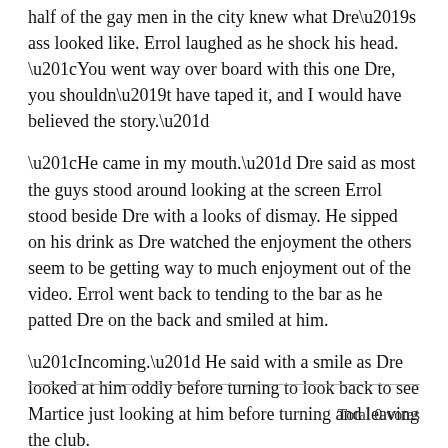half of the gay men in the city knew what Dre’s ass looked like. Errol laughed as he shock his head. “You went way over board with this one Dre, you shouldn’t have taped it, and I would have believed the story.”
“He came in my mouth.” Dre said as most the guys stood around looking at the screen Errol stood beside Dre with a looks of dismay. He sipped on his drink as Dre watched the enjoyment the others seem to be getting way to much enjoyment out of the video. Errol went back to tending to the bar as he patted Dre on the back and smiled at him.
“Incoming.” He said with a smile as Dre looked at him oddly before turning to look back to see Martice just looking at him before turning and leaving the club.
(More to come)
Total 0 votes